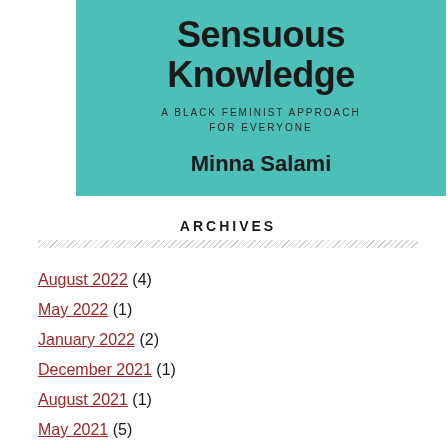[Figure (photo): Book cover of 'Sensuous Knowledge: A Black Feminist Approach for Everyone' by Minna Salami, teal/turquoise background with bold dark text]
ARCHIVES
August 2022 (4)
May 2022 (1)
January 2022 (2)
December 2021 (1)
August 2021 (1)
May 2021 (5)